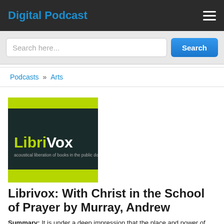Digital Podcast
Search here...
Podcasts » Arts
[Figure (logo): LibriVox logo: green and dark navy background with 'LibriVox' text and tagline 'acoustical liberation of books in the public domain']
Librivox: With Christ in the School of Prayer by Murray, Andrew
Summary: It is under a deep impression that the place and power of prayer in the Christian life is too little understood, that this book has